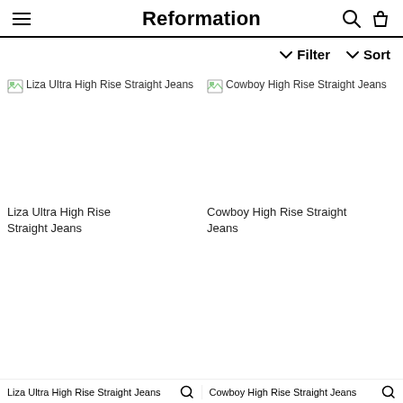Reformation
Filter  Sort
[Figure (other): Broken image placeholder for Liza Ultra High Rise Straight Jeans product photo]
Liza Ultra High Rise Straight Jeans
[Figure (other): Broken image placeholder for Cowboy High Rise Straight Jeans product photo]
Cowboy High Rise Straight Jeans
Liza Ultra High Rise Straight Jeans   Cowboy High Rise Straight Jeans